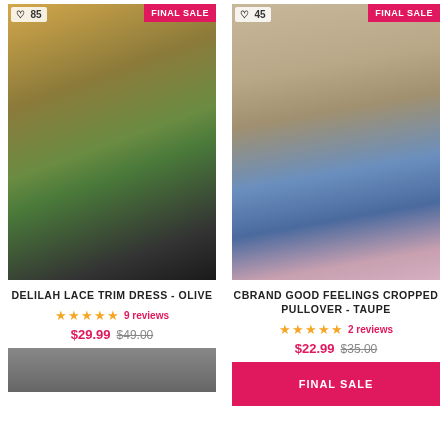[Figure (photo): Woman in olive green dress with plaid blanket scarf, black boots, outdoor autumn setting. FINAL SALE badge. Count: 85.]
DELILAH LACE TRIM DRESS - OLIVE
★★★★★ 9 reviews
$29.99 $49.00
[Figure (photo): Woman in taupe cropped pullover sweater with jeans and pink bag, urban setting. FINAL SALE badge. Count: 45.]
CBRAND GOOD FEELINGS CROPPED PULLOVER - TAUPE
★★★★★ 2 reviews
$22.99 $35.00
[Figure (photo): Partial product image at bottom left, cropped.]
[Figure (photo): FINAL SALE banner at bottom right, cropped.]